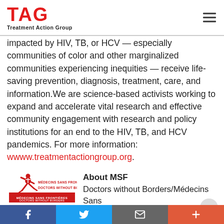TAG Treatment Action Group
impacted by HIV, TB, or HCV — especially communities of color and other marginalized communities experiencing inequities — receive life-saving prevention, diagnosis, treatment, care, and information.We are science-based activists working to expand and accelerate vital research and effective community engagement with research and policy institutions for an end to the HIV, TB, and HCV pandemics. For more information: www.treatmentactiongroup.org.
[Figure (logo): MSF (Médecins Sans Frontières / Doctors Without Borders) logo with red running figure and text]
About MSF
Doctors without Borders/Médecins Sans Frontières (MSF) provides medical assistance to people affected by conflict, epidemics, disasters, or exclusion
Facebook | Twitter | Email | Plus